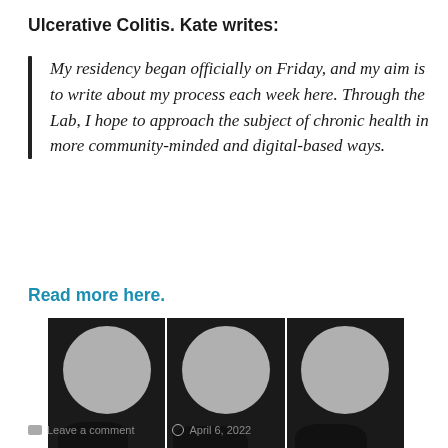Ulcerative Colitis. Kate writes:
My residency began officially on Friday, and my aim is to write about my process each week here. Through the Lab, I hope to approach the subject of chronic health in more community-minded and digital-based ways.
Read more here.
[Figure (photo): A triptych of three black-and-white photographs showing a figure lying near a bowl-like object, with a large circular backdrop, in three slightly different positions.]
Leave a comment   April 6, 2022